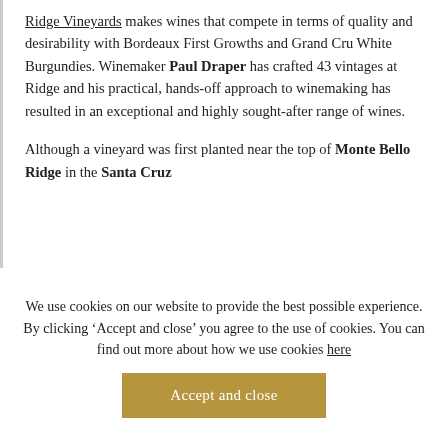Ridge Vineyards makes wines that compete in terms of quality and desirability with Bordeaux First Growths and Grand Cru White Burgundies. Winemaker Paul Draper has crafted 43 vintages at Ridge and his practical, hands-off approach to winemaking has resulted in an exceptional and highly sought-after range of wines.

Although a vineyard was first planted near the top of Monte Bello Ridge in the Santa Cruz
We use cookies on our website to provide the best possible experience. By clicking ‘Accept and close’ you agree to the use of cookies. You can find out more about how we use cookies here